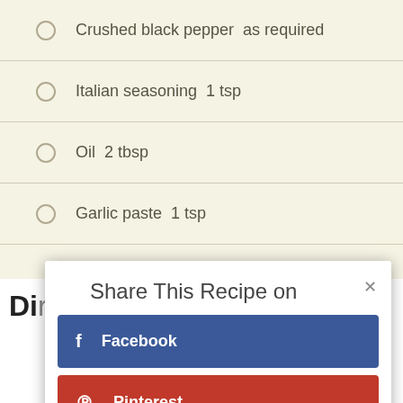Crushed black pepper  as required
Italian seasoning  1 tsp
Oil  2 tbsp
Garlic paste  1 tsp
Directions
[Figure (screenshot): Share This Recipe on modal dialog with Facebook and Pinterest buttons, with close (x) button in top right corner]